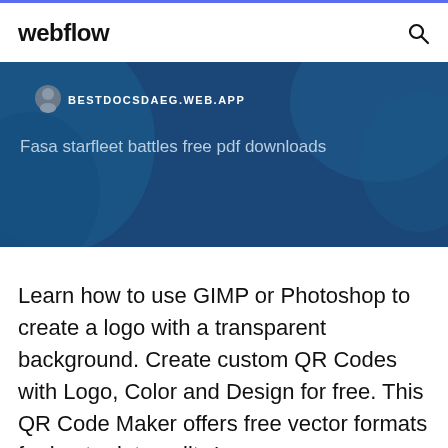webflow
[Figure (screenshot): Webflow website banner with dark blue background showing URL BESTDOCSDAEG.WEB.APP and title text 'Fasa starfleet battles free pdf downloads']
Learn how to use GIMP or Photoshop to create a logo with a transparent background. Create custom QR Codes with Logo, Color and Design for free. This QR Code Maker offers free vector formats for best print quality.'